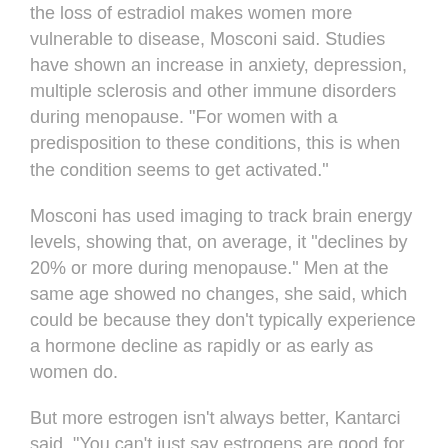the loss of estradiol makes women more vulnerable to disease, Mosconi said. Studies have shown an increase in anxiety, depression, multiple sclerosis and other immune disorders during menopause. "For women with a predisposition to these conditions, this is when the condition seems to get activated."
Mosconi has used imaging to track brain energy levels, showing that, on average, it "declines by 20% or more during menopause." Men at the same age showed no changes, she said, which could be because they don't typically experience a hormone decline as rapidly or as early as women do.
But more estrogen isn't always better, Kantarci said. "You can't just say estrogens are good for you. It's not that simple."
A growing body of research suggests that it's not just about how much estrogen a woman's brain gets exposed to — but when.